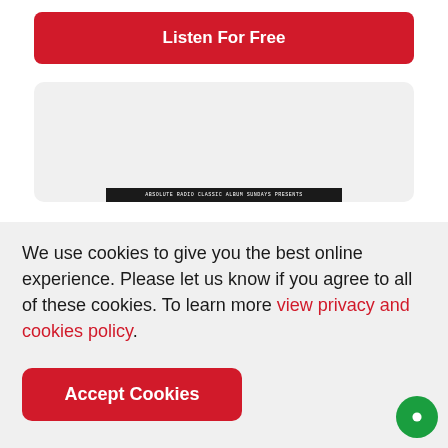Listen For Free
[Figure (screenshot): A light grey card/panel area with a dark banner at the bottom containing small text referencing a radio or music show.]
We use cookies to give you the best online experience. Please let us know if you agree to all of these cookies. To learn more view privacy and cookies policy.
Accept Cookies